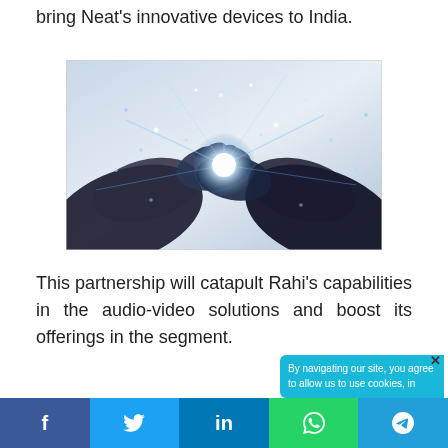…has extended its partnership with Neat to bring Neat's innovative devices to India.
[Figure (photo): Two hands shaking with a glowing digital/technological effect — light particles and blue digital streams emanating from the handshake point, symbolizing a business or technology partnership.]
This partnership will catapult Rahi's capabilities in the audio-video solutions and boost its offerings in the segment.
By navigating our site, you agree to allow us to use cookies, in
f  (twitter bird)  in  (whatsapp)  (telegram)